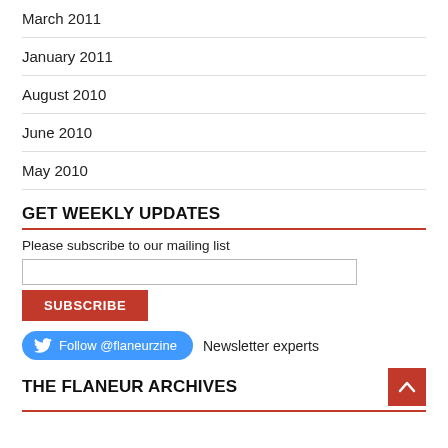March 2011
January 2011
August 2010
June 2010
May 2010
GET WEEKLY UPDATES
Please subscribe to our mailing list
SUBSCRIBE
Follow @flaneurzine   Newsletter experts
THE FLANEUR ARCHIVES